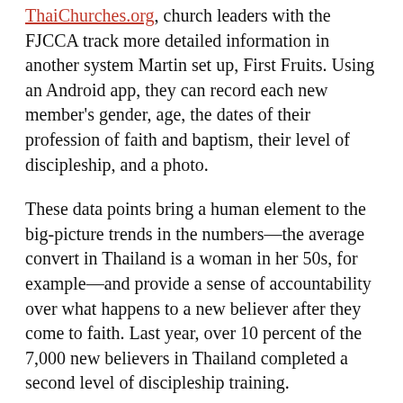ThaiChurches.org, church leaders with the FJCCA track more detailed information in another system Martin set up, First Fruits. Using an Android app, they can record each new member's gender, age, the dates of their profession of faith and baptism, their level of discipleship, and a photo.
These data points bring a human element to the big-picture trends in the numbers—the average convert in Thailand is a woman in her 50s, for example—and provide a sense of accountability over what happens to a new believer after they come to faith. Last year, over 10 percent of the 7,000 new believers in Thailand completed a second level of discipleship training.
“The focus needs to be back on finding these people and training them,” said Craft, who drills local